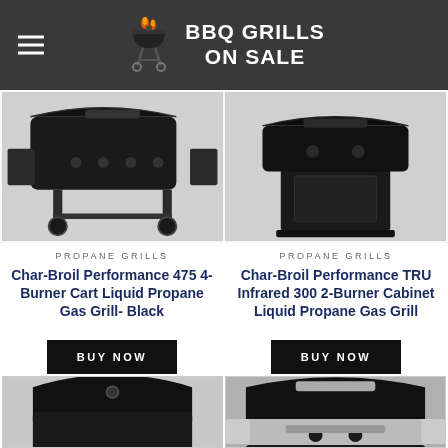BBQ GRILLS ON SALE
[Figure (photo): Char-Broil Performance 475 4-Burner Cart Liquid Propane Gas Grill - Black, shown from side angle on white background]
[Figure (photo): Char-Broil Performance TRU Infrared 300 2-Burner Cabinet Liquid Propane Gas Grill, shown from side angle on white background]
PROPANE GRILLS
Char-Broil Performance 475 4-Burner Cart Liquid Propane Gas Grill- Black
BUY NOW
PROPANE GRILLS
Char-Broil Performance TRU Infrared 300 2-Burner Cabinet Liquid Propane Gas Grill
BUY NOW
[Figure (photo): Portable/tabletop black gas grill on silver stand, shown from above-front angle]
[Figure (photo): Black and stainless steel 2-burner propane gas grill with side shelves, shown from front angle]